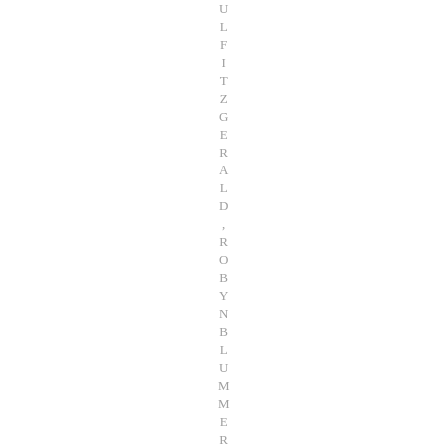ULFITZGERALD ,ROBYNBLUMMER ,SUSUS